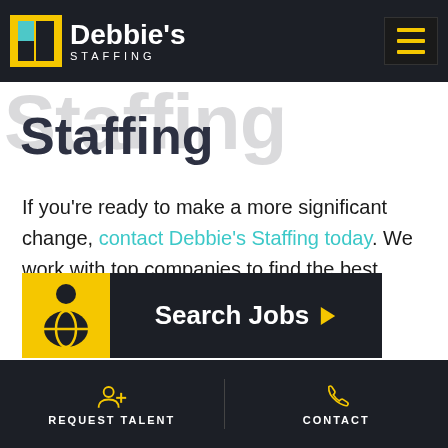Debbie's Staffing — navigation bar with logo and hamburger menu
Staffing
If you're ready to make a more significant change, contact Debbie's Staffing today. We work with top companies to find the best talent for their open positions, and we're eager to help you find a place that fits.
[Figure (screenshot): Search Jobs button with yellow person/globe icon on left and dark background with text 'Search Jobs' and arrow on right]
REQUEST TALENT    CONTACT